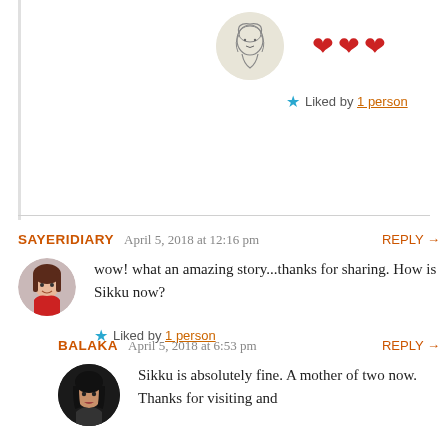[Figure (illustration): Small circular avatar with a line-drawing illustration of a girl, set against a beige background]
❤ ❤ ❤
★ Liked by 1 person
SAYERIDIARY   April 5, 2018 at 12:16 pm   REPLY →
[Figure (photo): Circular profile photo of a woman in red]
wow! what an amazing story...thanks for sharing. How is Sikku now?
★ Liked by 1 person
BALAKA   April 5, 2018 at 6:53 pm   REPLY →
[Figure (photo): Circular profile photo of a woman with dark hair against dark background]
Sikku is absolutely fine. A mother of two now. Thanks for visiting and